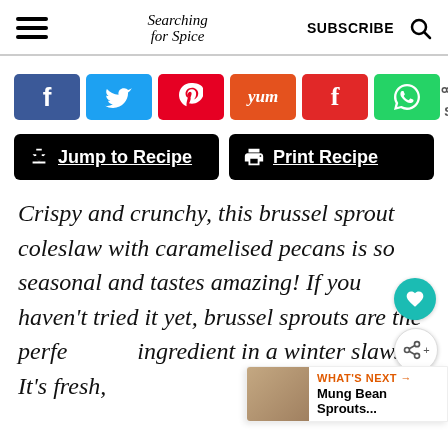Searching for Spice | SUBSCRIBE
[Figure (infographic): Social share buttons: Facebook, Twitter, Pinterest, Yummly, Flipboard, WhatsApp. Share count: 602 SHARES]
[Figure (infographic): Jump to Recipe and Print Recipe black action buttons]
Crispy and crunchy, this brussel sprout coleslaw with caramelised pecans is so seasonal and tastes amazing! If you haven't tried it yet, brussel sprouts are the perfe ingredient in a winter slaw. It's fresh,